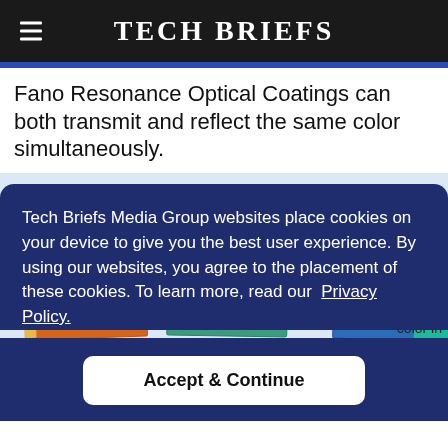TECH BRIEFS
Fano Resonance Optical Coatings can both transmit and reflect the same color simultaneously.
[Figure (photo): Photograph of several colored optical coating panels (red/orange, green/teal, blue) displayed upright, showing Fano Resonance Optical Coatings samples]
Tech Briefs Media Group websites place cookies on your device to give you the best user experience. By using our websites, you agree to the placement of these cookies. To learn more, read our Privacy Policy.
Accept & Continue
color in ester